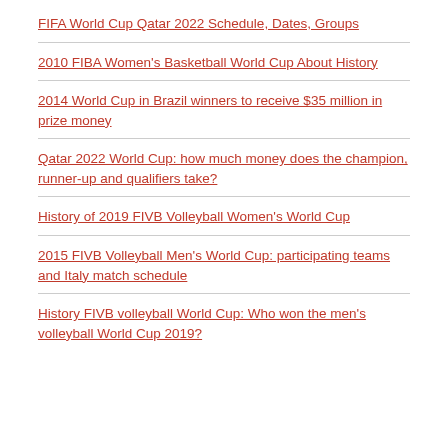FIFA World Cup Qatar 2022 Schedule, Dates, Groups
2010 FIBA Women's Basketball World Cup About History
2014 World Cup in Brazil winners to receive $35 million in prize money
Qatar 2022 World Cup: how much money does the champion, runner-up and qualifiers take?
History of 2019 FIVB Volleyball Women's World Cup
2015 FIVB Volleyball Men's World Cup: participating teams and Italy match schedule
History FIVB volleyball World Cup: Who won the men's volleyball World Cup 2019?